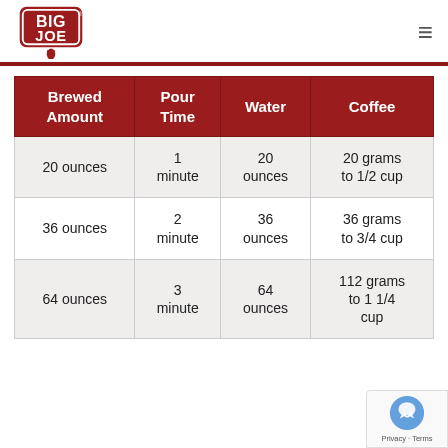Big Joe logo and navigation
| Brewed Amount | Pour Time | Water | Coffee |
| --- | --- | --- | --- |
| 20 ounces | 1 minute | 20 ounces | 20 grams to 1/2 cup |
| 36 ounces | 2 minute | 36 ounces | 36 grams to 3/4 cup |
| 64 ounces | 3 minute | 64 ounces | 112 grams to 1 1/4 cup |